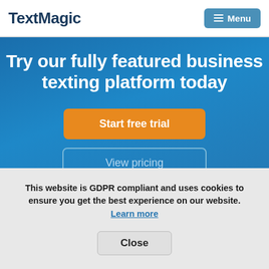TextMagic  Menu
Try our fully featured business texting platform today
Start free trial
View pricing
This website is GDPR compliant and uses cookies to ensure you get the best experience on our website. Learn more
Close